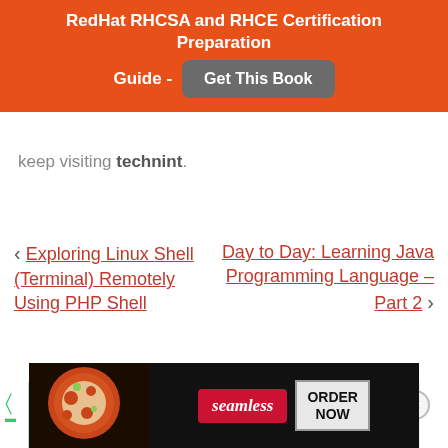[Figure (other): Red banner ad for RedHat RHCSA and RHCE Certification Preparation Guide with a 'Get This Book' button]
keep visiting technit.
< Exploring Linux Shell (Terminal) Remotely Using PHP Shell
Day to Day: Learning Java Programming Language – Part 2 >
If you liked this article, then do subscribe to email alerts for Linux tutorials. If you have any
[Figure (other): Seamless food delivery advertisement banner with pizza image, Seamless logo and ORDER NOW button]